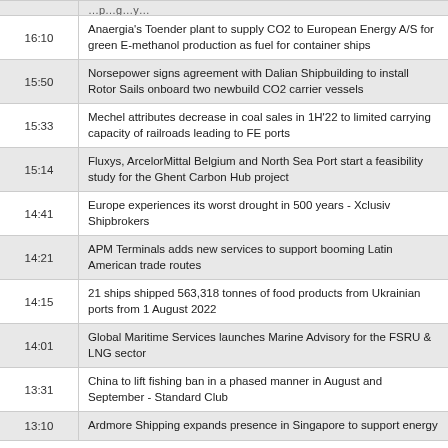16:10 - Anaergia's Toender plant to supply CO2 to European Energy A/S for green E-methanol production as fuel for container ships
15:50 - Norsepower signs agreement with Dalian Shipbuilding to install Rotor Sails onboard two newbuild CO2 carrier vessels
15:33 - Mechel attributes decrease in coal sales in 1H'22 to limited carrying capacity of railroads leading to FE ports
15:14 - Fluxys, ArcelorMittal Belgium and North Sea Port start a feasibility study for the Ghent Carbon Hub project
14:41 - Europe experiences its worst drought in 500 years - Xclusiv Shipbrokers
14:21 - APM Terminals adds new services to support booming Latin American trade routes
14:15 - 21 ships shipped 563,318 tonnes of food products from Ukrainian ports from 1 August 2022
14:01 - Global Maritime Services launches Marine Advisory for the FSRU & LNG sector
13:31 - China to lift fishing ban in a phased manner in August and September - Standard Club
13:10 - Ardmore Shipping expands presence in Singapore to support energy...